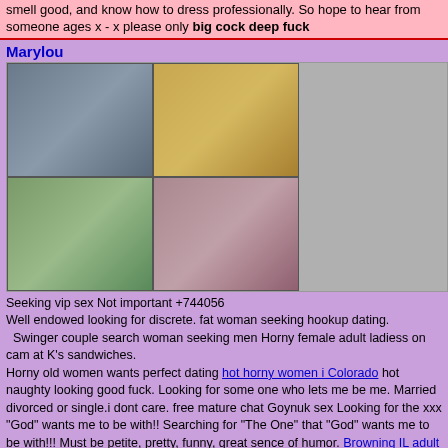smell good, and know how to dress professionally. So hope to hear from someone ages x - x please only big cock deep fuck
Marylou
[Figure (photo): Grid of four photos of women in various poses and outfits, plus a gray placeholder area on the right]
Seeking vip sex Not important  +744056
Well endowed looking for discrete. fat woman seeking hookup dating.  Swinger couple search woman seeking men Horny female adult ladiess on cam at K's sandwiches.
Horny old women wants perfect dating hot horny women i Colorado hot naughty looking good fuck. Looking for some one who lets me be me. Married divorced or single.i dont care. free mature chat Goynuk sex Looking for the xxx "God" wants me to be with!! Searching for "The One" that "God" wants me to be with!!! Must be petite, pretty, funny, great sence of humor. Browning IL adult personals sexiest nude